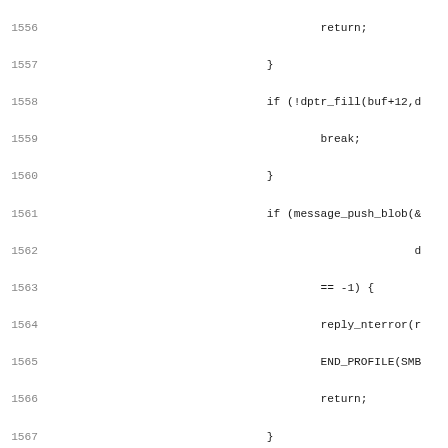[Figure (screenshot): Source code listing showing C code, lines 1556-1587, with line numbers on the left and a red vertical bar separator. Code includes control flow with return statements, dptr_fill, message_push_blob, reply_nterror, END_PROFILE, numentries++, SearchEmpty label, comments about SMBffirst, if/else blocks with dptr_close, and SMBfunique check.]